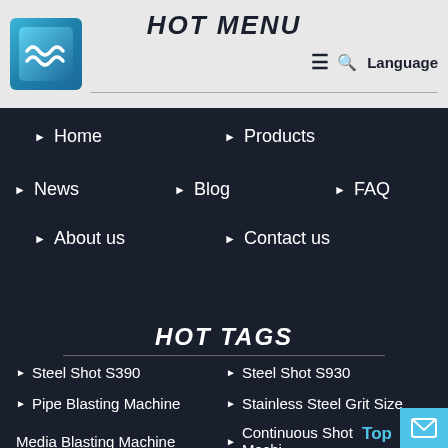HOT MENU
[Figure (logo): Blue wave logo on light background]
Home
Products
News
Blog
FAQ
About us
Contact us
HOT TAGS
Steel Shot S390
Steel Shot S930
Pipe Blasting Machine
Stainless Steel Grit Size
Media Blasting Machine
Continuous Shot Blasting Machine